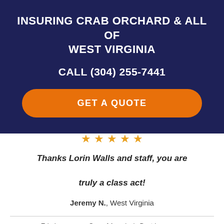INSURING CRAB ORCHARD & ALL OF WEST VIRGINIA
CALL (304) 255-7441
GET A QUOTE
[Figure (illustration): Five gold star rating icons]
Thanks Lorin Walls and staff, you are truly a class act!
Jeremy N., West Virginia
Erie Insurance - One of America's Best Insurance Companies